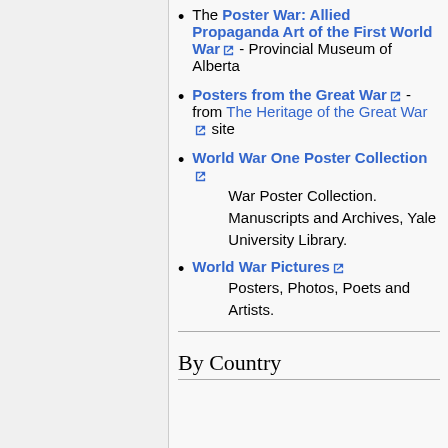The Poster War: Allied Propaganda Art of the First World War [ext] - Provincial Museum of Alberta
Posters from the Great War [ext] - from The Heritage of the Great War [ext] site
World War One Poster Collection [ext] War Poster Collection. Manuscripts and Archives, Yale University Library.
World War Pictures [ext] Posters, Photos, Poets and Artists.
By Country